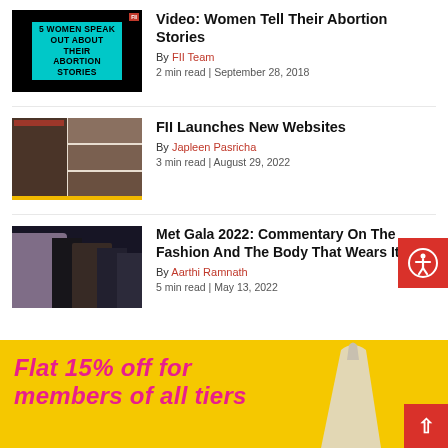[Figure (photo): Black background thumbnail with teal/cyan box reading '5 WOMEN SPEAK OUT ABOUT THEIR ABORTION STORIES' in bold black uppercase text, small red badge top right]
Video: Women Tell Their Abortion Stories
By FII Team
2 min read | September 28, 2018
[Figure (screenshot): Screenshot of FII website homepage showing article thumbnails and navigation, with yellow bar at bottom]
FII Launches New Websites
By Japleen Pasricha
3 min read | August 29, 2022
[Figure (photo): Photo of people at Met Gala 2022 on red carpet, dark background]
Met Gala 2022: Commentary On The Fashion And The Body That Wears It
By Aarthi Ramnath
5 min read | May 13, 2022
Flat 15% off for members of all tiers